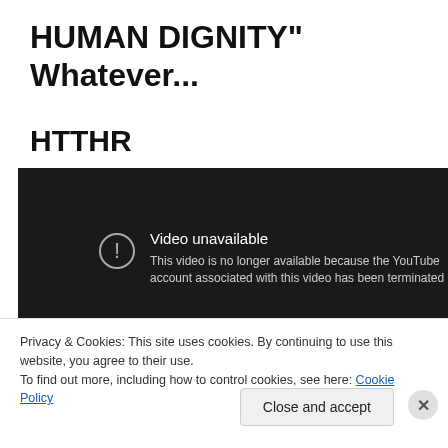HUMAN DIGNITY" Whatever...
HTTHR
[Figure (screenshot): Embedded YouTube video player showing 'Video unavailable' message. The video is no longer available because the YouTube account associated with this video has been terminated. Dark background with white exclamation icon and text.]
Privacy & Cookies: This site uses cookies. By continuing to use this website, you agree to their use.
To find out more, including how to control cookies, see here: Cookie Policy
Close and accept